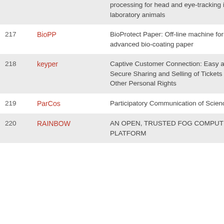| # | Name | Description |
| --- | --- | --- |
|  |  | processing for head and eye-tracking in laboratory animals |
| 217 | BioPP | BioProtect Paper: Off-line machine for advanced bio-coating paper |
| 218 | keyper | Captive Customer Connection: Easy and Secure Sharing and Selling of Tickets - and Other Personal Rights |
| 219 | ParCos | Participatory Communication of Science |
| 220 | RAINBOW | AN OPEN, TRUSTED FOG COMPUTING PLATFORM |